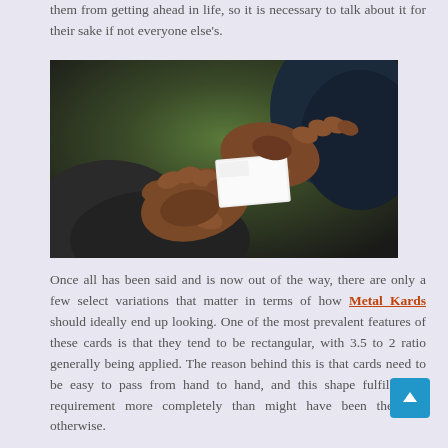them from getting ahead in life, so it is necessary to talk about it for their sake if not everyone else's.
[Figure (photo): Two hands exchanging a white business card. One person wearing a dark suit, photographed close-up outdoors.]
Once all has been said and is now out of the way, there are only a few select variations that matter in terms of how Metal Kards should ideally end up looking. One of the most prevalent features of these cards is that they tend to be rectangular, with 3.5 to 2 ratio generally being applied. The reason behind this is that cards need to be easy to pass from hand to hand, and this shape fulfills that requirement more completely than might have been the case otherwise.